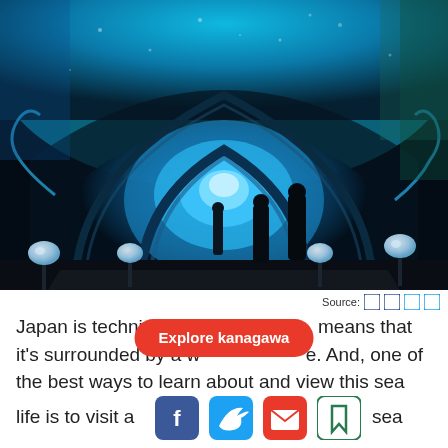[Figure (photo): Interior of an aquarium tunnel with bright blue lighting from fish tanks above and around visitors. People are silhouetted walking through an arched glass tunnel with glowing orb displays on stands. The tunnel leads to a bright blue opening in the background.]
Source: [icon] [icon]
Japan is technically [obscured by button] means that it's surrounded by a w[obscured] e. And, one of the best ways to learn about and view this sea life is to visit a [social icons] sea
[Figure (other): Red pill-shaped button overlay reading 'Explore kanagawa']
[Figure (other): Social media icon row: Facebook (blue), Twitter (blue), email/envelope (red), bookmark (green outline)]